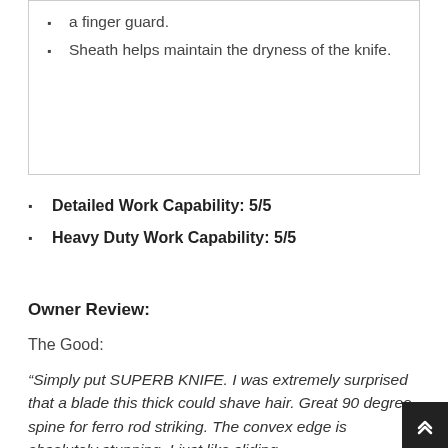a finger guard.
Sheath helps maintain the dryness of the knife.
Detailed Work Capability: 5/5
Heavy Duty Work Capability: 5/5
Owner Review:
The Good:
“Simply put SUPERB KNIFE. I was extremely surprised that a blade this thick could shave hair. Great 90 degree spine for ferro rod striking. The convex edge is absolutely stunning. I just like sliding